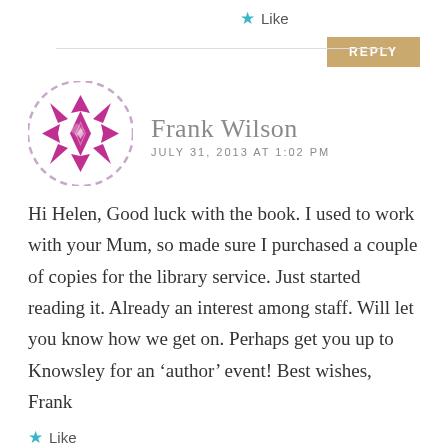★ Like
REPLY
[Figure (illustration): Purple decorative geometric/quilt pattern avatar icon for user Frank Wilson]
Frank Wilson
JULY 31, 2013 AT 1:02 PM
Hi Helen, Good luck with the book. I used to work with your Mum, so made sure I purchased a couple of copies for the library service. Just started reading it. Already an interest among staff. Will let you know how we get on. Perhaps get you up to Knowsley for an ‘author’ event! Best wishes, Frank
★ Like